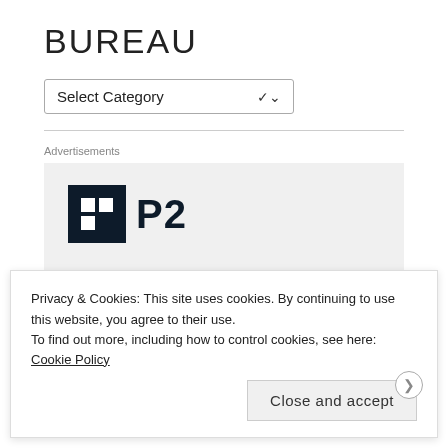BUREAU
[Figure (screenshot): A dropdown select box labeled 'Select Category' with a chevron arrow on the right]
Advertisements
[Figure (logo): P2 logo — dark square icon with grid pattern and bold P2 text, with partial advertisement showing 'Getting your' text in large bold font]
Privacy & Cookies: This site uses cookies. By continuing to use this website, you agree to their use.
To find out more, including how to control cookies, see here: Cookie Policy
Close and accept